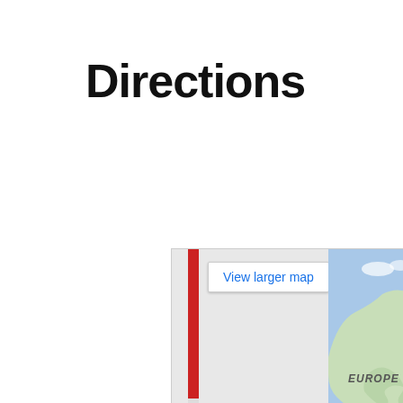Directions
[Figure (map): Google Maps embedded map showing Europe, Asia, Africa, and Indian Ocean regions. Left side shows a directions panel with a red route marker and a 'View larger map' button. Right side shows the world map with continent labels: EUROPE, ASIA, AFRICA, Indian Ocean. A dashed line crosses the lower portion of the map.]